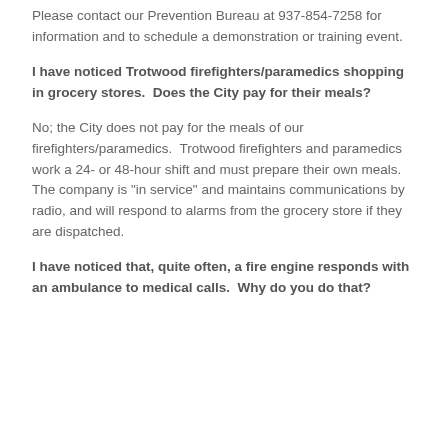Please contact our Prevention Bureau at 937-854-7258 for information and to schedule a demonstration or training event.
I have noticed Trotwood firefighters/paramedics shopping in grocery stores.  Does the City pay for their meals?
No; the City does not pay for the meals of our firefighters/paramedics.  Trotwood firefighters and paramedics work a 24- or 48-hour shift and must prepare their own meals.  The company is "in service" and maintains communications by radio, and will respond to alarms from the grocery store if they are dispatched.
I have noticed that, quite often, a fire engine responds with an ambulance to medical calls.  Why do you do that?